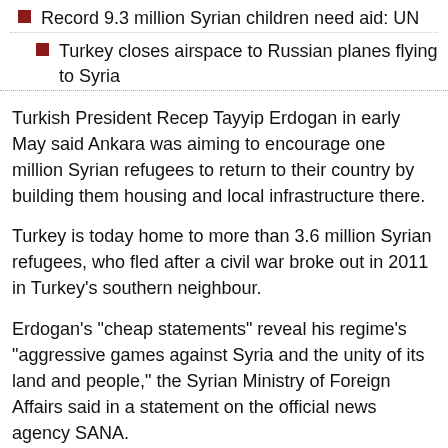Record 9.3 million Syrian children need aid: UN
Turkey closes airspace to Russian planes flying to Syria
Turkish President Recep Tayyip Erdogan in early May said Ankara was aiming to encourage one million Syrian refugees to return to their country by building them housing and local infrastructure there.
Turkey is today home to more than 3.6 million Syrian refugees, who fled after a civil war broke out in 2011 in Turkey's southern neighbour.
Erdogan's "cheap statements" reveal his regime's "aggressive games against Syria and the unity of its land and people," the Syrian Ministry of Foreign Affairs said in a statement on the official news agency SANA.
Erdogan is facing rising public anger over the refugees' presence and is wary of the issue dominating elections